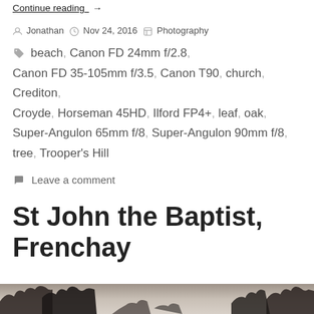Continue reading  →
By Jonathan   Nov 24, 2016   Photography
beach, Canon FD 24mm f/2.8, Canon FD 35-105mm f/3.5, Canon T90, church, Crediton, Croyde, Horseman 45HD, Ilford FP4+, leaf, oak, Super-Angulon 65mm f/8, Super-Angulon 90mm f/8, tree, Trooper's Hill
Leave a comment
St John the Baptist, Frenchay
[Figure (photo): Black and white photograph of tree branches against a light sky, bottom portion of image visible]